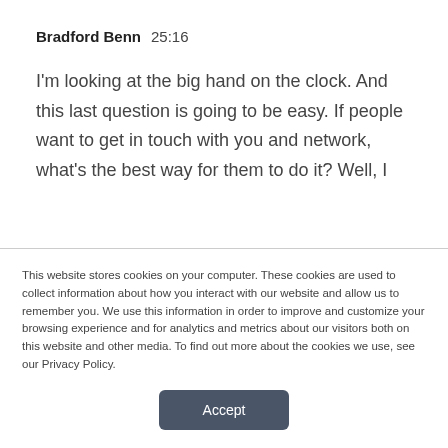Bradford Benn  25:16
I'm looking at the big hand on the clock. And this last question is going to be easy. If people want to get in touch with you and network, what's the best way for them to do it? Well, I
This website stores cookies on your computer. These cookies are used to collect information about how you interact with our website and allow us to remember you. We use this information in order to improve and customize your browsing experience and for analytics and metrics about our visitors both on this website and other media. To find out more about the cookies we use, see our Privacy Policy.
Accept